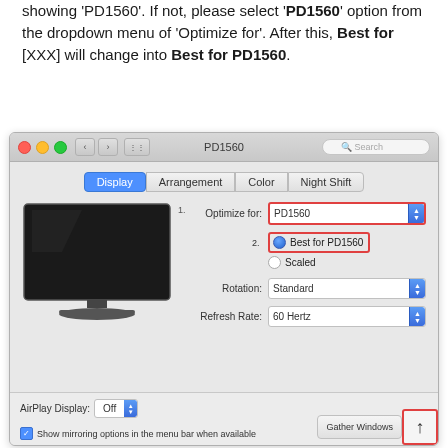showing 'PD1560'. If not, please select 'PD1560' option from the dropdown menu of 'Optimize for'. After this, Best for [XXX] will change into Best for PD1560.
[Figure (screenshot): macOS Display Preferences window titled PD1560, showing Display tab selected with Optimize for: PD1560 dropdown (red border, labeled 1), Best for PD1560 radio selected (red border, labeled 2), Scaled radio, Rotation: Standard, Refresh Rate: 60 Hertz, AirPlay Display: Off, Show mirroring options checkbox, Gather Windows button, and an up-arrow button with red border in bottom-right.]